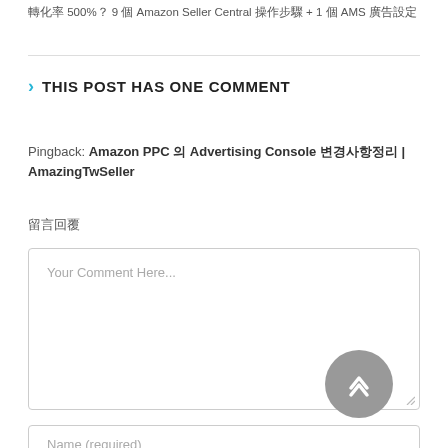轉化率 500%？ 9 個 Amazon Seller Central 操作步驟 + 1 個 AMS 廣告設定
THIS POST HAS ONE COMMENT
Pingback: Amazon PPC 의 Advertising Console 변경사항정리 | AmazingTwSeller
留言回覆
Your Comment Here...
Name (required)